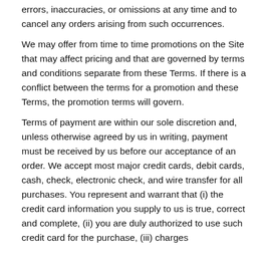errors, inaccuracies, or omissions at any time and to cancel any orders arising from such occurrences.
We may offer from time to time promotions on the Site that may affect pricing and that are governed by terms and conditions separate from these Terms. If there is a conflict between the terms for a promotion and these Terms, the promotion terms will govern.
Terms of payment are within our sole discretion and, unless otherwise agreed by us in writing, payment must be received by us before our acceptance of an order. We accept most major credit cards, debit cards, cash, check, electronic check, and wire transfer for all purchases. You represent and warrant that (i) the credit card information you supply to us is true, correct and complete, (ii) you are duly authorized to use such credit card for the purchase, (iii) charges